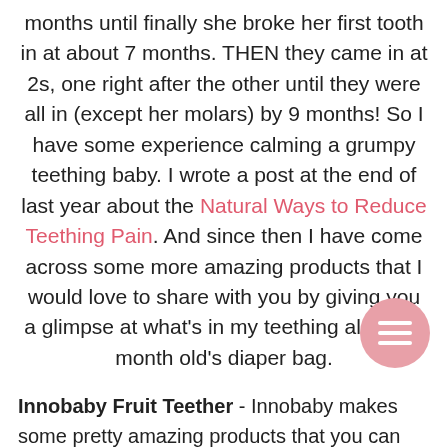months until finally she broke her first tooth in at about 7 months. THEN they came in at 2s, one right after the other until they were all in (except her molars) by 9 months! So I have some experience calming a grumpy teething baby. I wrote a post at the end of last year about the Natural Ways to Reduce Teething Pain. And since then I have come across some more amazing products that I would love to share with you by giving you a glimpse at what's in my teething almost 5 month old's diaper bag.
Innobaby Fruit Teether - Innobaby makes some pretty amazing products that you can find on Amazon*. We received one of their Fruit Teethers in our recent Citrus Lane Box and I love it! It's easy for my litt to grab.
Sophie the Giraffe - STILL a HUGE fan of Sophie! M